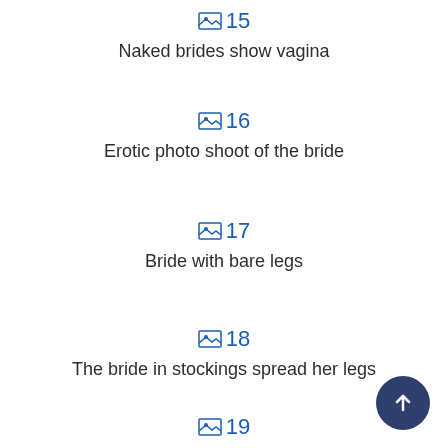🖼 15 Naked brides show vagina
🖼 16 Erotic photo shoot of the bride
🖼 17 Bride with bare legs
🖼 18 The bride in stockings spread her legs
🖼 19 Naked brides with hair...